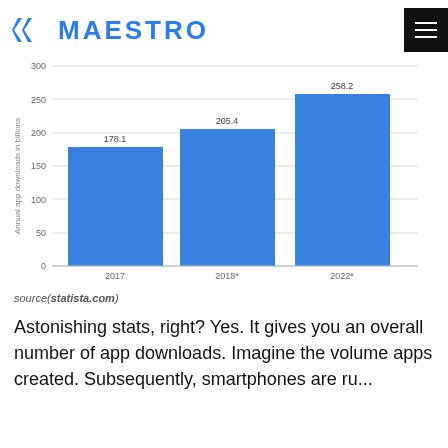MAESTRO
[Figure (bar-chart): Annual app downloads in billions]
source(statista.com)
Astonishing stats, right? Yes. It gives you an overall number of app downloads. Imagine the volume apps created. Subsequently, smartphones are ru...